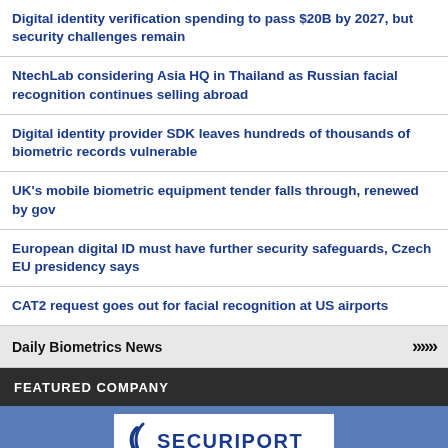Digital identity verification spending to pass $20B by 2027, but security challenges remain
NtechLab considering Asia HQ in Thailand as Russian facial recognition continues selling abroad
Digital identity provider SDK leaves hundreds of thousands of biometric records vulnerable
UK's mobile biometric equipment tender falls through, renewed by gov
European digital ID must have further security safeguards, Czech EU presidency says
CAT2 request goes out for facial recognition at US airports
Daily Biometrics News »»»
FEATURED COMPANY
[Figure (logo): Securiport company logo on blue background]